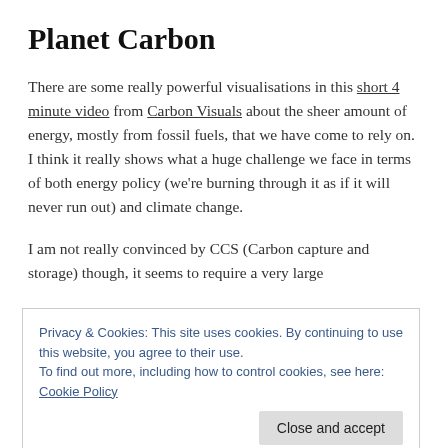Planet Carbon
There are some really powerful visualisations in this short 4 minute video from Carbon Visuals about the sheer amount of energy, mostly from fossil fuels, that we have come to rely on. I think it really shows what a huge challenge we face in terms of both energy policy (we're burning through it as if it will never run out) and climate change.
I am not really convinced by CCS (Carbon capture and storage) though, it seems to require a very large
Privacy & Cookies: This site uses cookies. By continuing to use this website, you agree to their use.
To find out more, including how to control cookies, see here: Cookie Policy
the BBC, now probably available on youtube, made